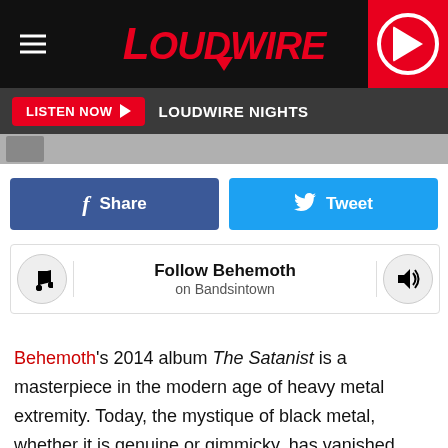LOUDWIRE
LISTEN NOW  LOUDWIRE NIGHTS
[Figure (screenshot): Thumbnail strip with small album art]
f Share   Tweet
Follow Behemoth on Bandsintown
Behemoth's 2014 album The Satanist is a masterpiece in the modern age of heavy metal extremity. Today, the mystique of black metal, whether it is genuine or gimmicky, has vanished. We're no longer peering over zine pages wrapping our heads around who these anonymous corpse-painted are, and what darkness has corrupted their souls. Conveying a sense of absolu[redacted]d insince[redacted]nts